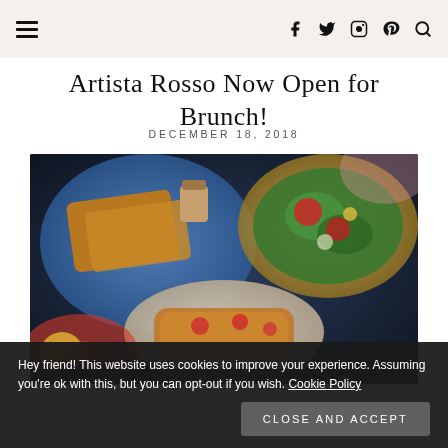≡  [navigation: hamburger menu, facebook, twitter, instagram, pinterest, search icons]
Artista Rosso Now Open for Brunch!
DECEMBER 18, 2018
[Figure (photo): Food photo showing multiple brunch dishes: french toast on a blue plate, a salad on a yellow plate, hash browns on a white plate, and fruit bowl with berries]
Hey friend! This website uses cookies to improve your experience. Assuming you're ok with this, but you can opt-out if you wish. Cookie Policy
Close and accept